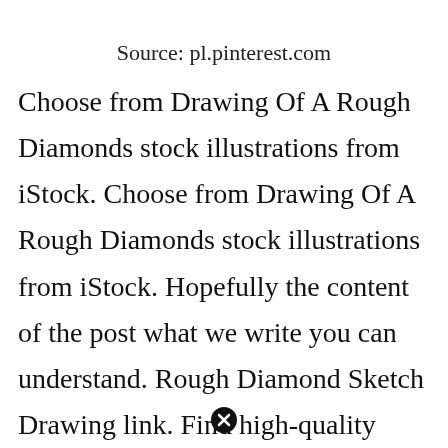Source: pl.pinterest.com
Choose from Drawing Of A Rough Diamonds stock illustrations from iStock. Choose from Drawing Of A Rough Diamonds stock illustrations from iStock. Hopefully the content of the post what we write you can understand. Rough Diamond Sketch Drawing link. Find high-quality royalty-free vector images that you wont find anywhere else. All right have a nice reading. Drawings